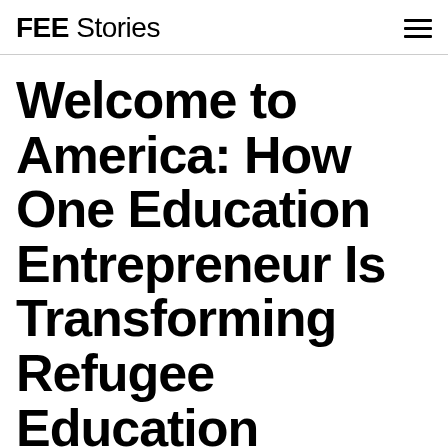FEE Stories
Welcome to America: How One Education Entrepreneur Is Transforming Refugee Education
An immigrant herself, Luma Mufleh decided to take action by creating the first American school designed specifically for the distinct needs of refugees and their children